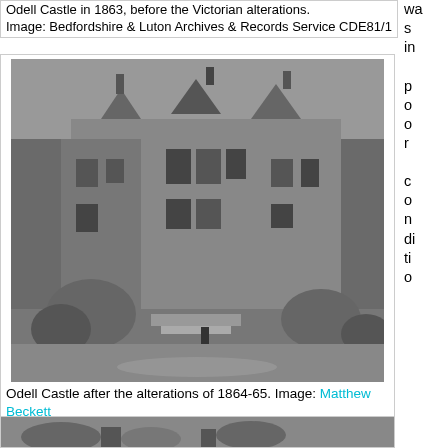Odell Castle in 1863, before the Victorian alterations. Image: Bedfordshire & Luton Archives & Records Service CDE81/1
was in poor condition
[Figure (photo): Black and white photograph of Odell Castle after the alterations of 1864-65, showing a large Victorian Gothic manor house with multiple chimneys, ivy-covered walls, and ornamental grounds.]
Odell Castle after the alterations of 1864-65. Image: Matthew Beckett
n and largely unoccupied by 1927, when parts of the service accommodation were said to be being demolished and the house was described as "quite unlettable, even at a nominal rent". In 1930 R.C. Alston moved out to a bungalow in the village 'on health grounds' - which suggests something about the dire state the place was in - and the following year the house was burned down by a fire which appears to have originated in the boiler room.
[Figure (photo): Partial view of another historical photograph at the bottom of the page, partially cut off.]